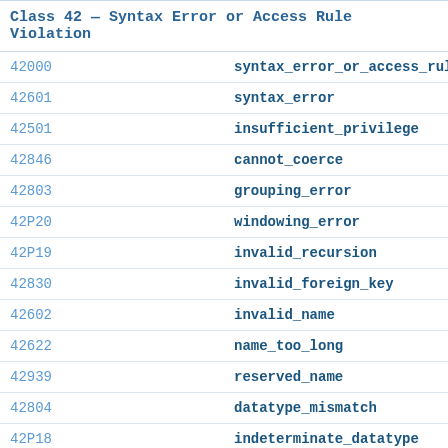| Code | Name |
| --- | --- |
| 42000 | syntax_error_or_access_rule_violation |
| 42601 | syntax_error |
| 42501 | insufficient_privilege |
| 42846 | cannot_coerce |
| 42803 | grouping_error |
| 42P20 | windowing_error |
| 42P19 | invalid_recursion |
| 42830 | invalid_foreign_key |
| 42602 | invalid_name |
| 42622 | name_too_long |
| 42939 | reserved_name |
| 42804 | datatype_mismatch |
| 42P18 | indeterminate_datatype |